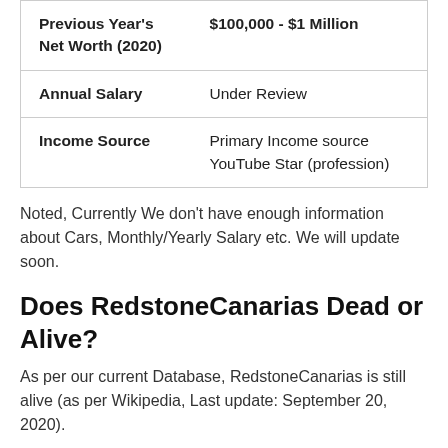|  |  |
| --- | --- |
| Previous Year's Net Worth (2020) | $100,000 - $1 Million |
| Annual Salary | Under Review |
| Income Source | Primary Income source YouTube Star (profession) |
Noted, Currently We don't have enough information about Cars, Monthly/Yearly Salary etc. We will update soon.
Does RedstoneCanarias Dead or Alive?
As per our current Database, RedstoneCanarias is still alive (as per Wikipedia, Last update: September 20, 2020).
FAQs